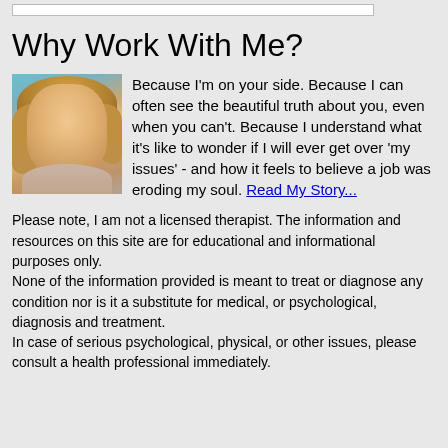Why Work With Me?
Because I'm on your side. Because I can often see the beautiful truth about you, even when you can't. Because I understand what it's like to wonder if I will ever get over 'my issues' - and how it feels to believe a job was eroding my soul. Read My Story...
Please note, I am not a licensed therapist. The information and resources on this site are for educational and informational purposes only.
None of the information provided is meant to treat or diagnose any condition nor is it a substitute for medical, or psychological, diagnosis and treatment.
In case of serious psychological, physical, or other issues, please consult a health professional immediately.